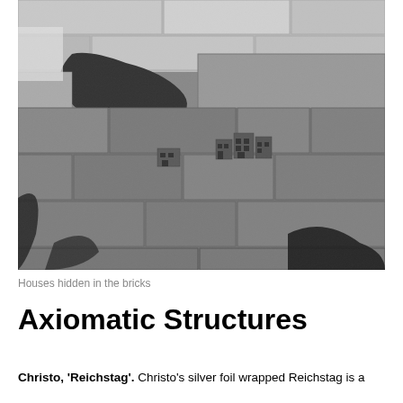[Figure (photo): Black and white photograph showing miniature houses hidden within the texture of large stone/brick wall. The miniature structures appear to be carved into or placed within the gaps and crevices of the brickwork.]
Houses hidden in the bricks
Axiomatic Structures
Christo, 'Reichstag'. Christo's silver foil wrapped Reichstag is a